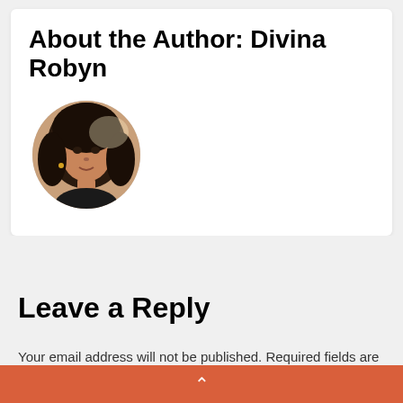About the Author: Divina Robyn
[Figure (photo): Circular avatar photo of Divina Robyn, a woman with long dark hair]
Leave a Reply
Your email address will not be published. Required fields are marked *